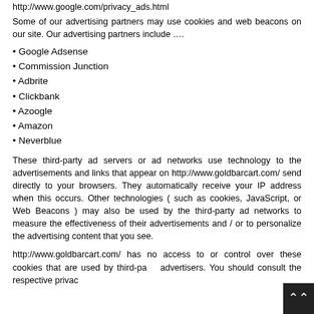http://www.google.com/privacy_ads.html
Some of our advertising partners may use cookies and web beacons on our site. Our advertising partners include ….
• Google Adsense
• Commission Junction
• Adbrite
• Clickbank
• Azoogle
• Amazon
• Neverblue
These third-party ad servers or ad networks use technology to the advertisements and links that appear on http://www.goldbarcart.com/ send directly to your browsers. They automatically receive your IP address when this occurs. Other technologies ( such as cookies, JavaScript, or Web Beacons ) may also be used by the third-party ad networks to measure the effectiveness of their advertisements and / or to personalize the advertising content that you see.
http://www.goldbarcart.com/ has no access to or control over these cookies that are used by third-party advertisers. You should consult the respective privacy